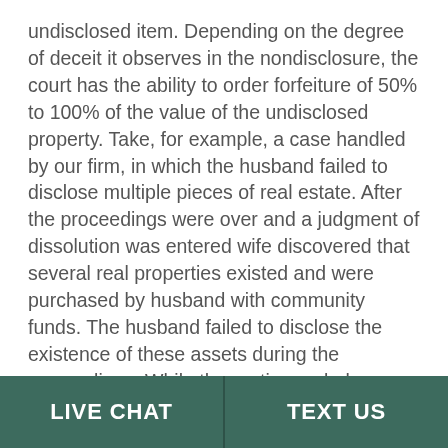undisclosed item. Depending on the degree of deceit it observes in the nondisclosure, the court has the ability to order forfeiture of 50% to 100% of the value of the undisclosed property. Take, for example, a case handled by our firm, in which the husband failed to disclose multiple pieces of real estate. After the proceedings were over and a judgment of dissolution was entered wife discovered that several real properties existed and were purchased by husband with community funds. The husband failed to disclose the existence of these assets during the proceedings. While the parties ended up settling outside of court, the court had the discretion to grant wife 100% of the real estate purchased with community funds and intentionally omitted by husband.
LIVE CHAT   TEXT US